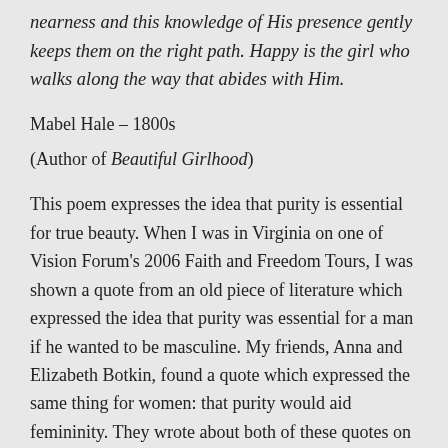nearness and this knowledge of His presence gently keeps them on the right path. Happy is the girl who walks along the way that abides with Him.
Mabel Hale – 1800s
(Author of Beautiful Girlhood)
This poem expresses the idea that purity is essential for true beauty. When I was in Virginia on one of Vision Forum's 2006 Faith and Freedom Tours, I was shown a quote from an old piece of literature which expressed the idea that purity was essential for a man if he wanted to be masculine. My friends, Anna and Elizabeth Botkin, found a quote which expressed the same thing for women: that purity would aid femininity. They wrote about both of these quotes on the blog (www.visionarydaughters.com) associated with their book, So Much More.